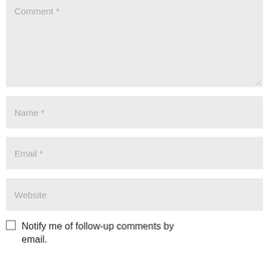[Figure (screenshot): Comment textarea placeholder field with light gray background]
[Figure (screenshot): Name input field with placeholder text 'Name *' on light gray background]
[Figure (screenshot): Email input field with placeholder text 'Email *' on light gray background]
[Figure (screenshot): Website input field with placeholder text 'Website' on light gray background]
Notify me of follow-up comments by email.